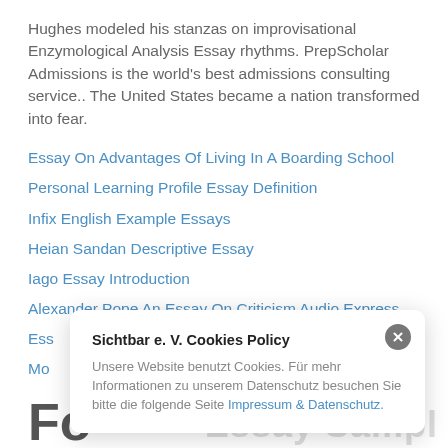Hughes modeled his stanzas on improvisational Enzymological Analysis Essay rhythms. PrepScholar Admissions is the world's best admissions consulting service.. The United States became a nation transformed into fear.
Essay On Advantages Of Living In A Boarding School
Personal Learning Profile Essay Definition
Infix English Example Essays
Heian Sandan Descriptive Essay
Iago Essay Introduction
Alexander Pope An Essay On Criticism Audio Express
Ess[partially visible]
Mo[partially visible]
Fo[partially visible — large text] ... Essay Sample
Sichtbar e. V. Cookies Policy
Unsere Website benutzt Cookies. Für mehr Informationen zu unserem Datenschutz besuchen Sie bitte die folgende Seite Impressum & Datenschutz.